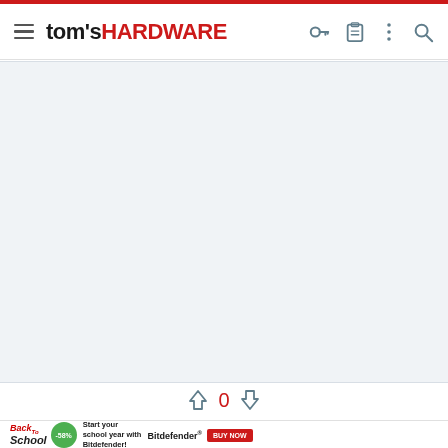tom's HARDWARE
[Figure (other): Light gray placeholder content area]
↑ 0 ↓
[Figure (other): Back to School advertisement for Bitdefender with -58% discount and BUY NOW button]